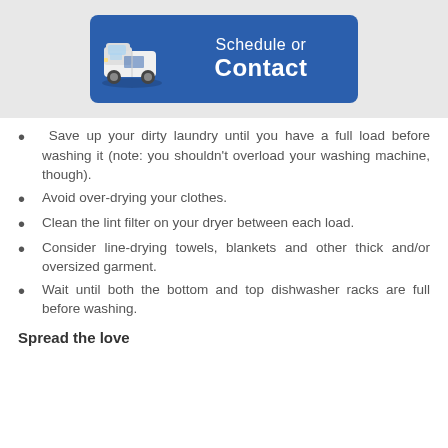[Figure (other): Blue button banner with a white delivery van icon on the left and white text reading 'Schedule or Contact']
Save up your dirty laundry until you have a full load before washing it (note: you shouldn't overload your washing machine, though).
Avoid over-drying your clothes.
Clean the lint filter on your dryer between each load.
Consider line-drying towels, blankets and other thick and/or oversized garment.
Wait until both the bottom and top dishwasher racks are full before washing.
Spread the love